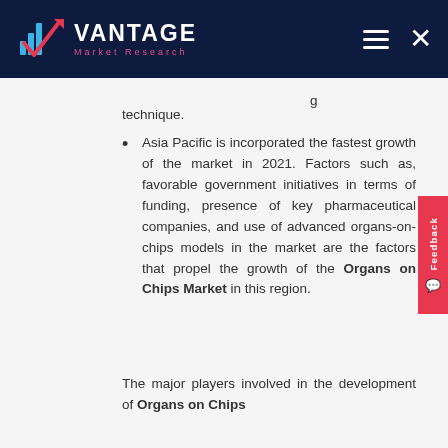VANTAGE Market Research
technique.
Asia Pacific is incorporated the fastest growth of the market in 2021. Factors such as, favorable government initiatives in terms of funding, presence of key pharmaceutical companies, and use of advanced organs-on-chips models in the market are the factors that propel the growth of the Organs on Chips Market in this region.
The major players involved in the development of Organs on Chips